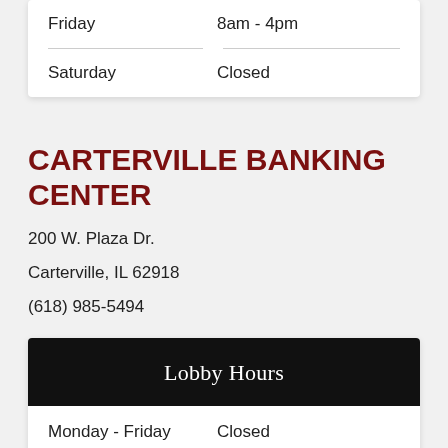| Day | Hours |
| --- | --- |
| Friday | 8am - 4pm |
| Saturday | Closed |
CARTERVILLE BANKING CENTER
200 W. Plaza Dr.
Carterville, IL 62918
(618) 985-5494
Lobby Hours
| Day | Hours |
| --- | --- |
| Monday - Friday | Closed |